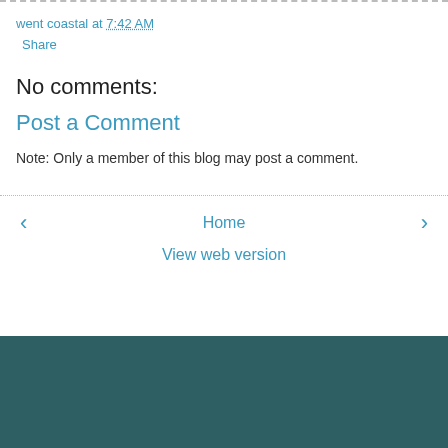went coastal at 7:42 AM
Share
No comments:
Post a Comment
Note: Only a member of this blog may post a comment.
‹  Home  ›  View web version